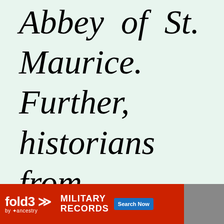Abbey of St. Maurice. Further, historians from Fribourg occasionally render the name
[Figure (other): Advertisement banner for Fold3 Military Records by Ancestry at the bottom of the page, with red background, white text reading MILITARY RECORDS, a Search Now button, and a photo of a soldier.]